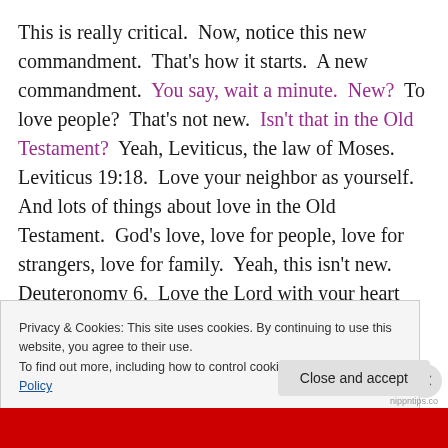This is really critical.  Now, notice this new commandment.  That's how it starts.  A new commandment.  You say, wait a minute.  New?  To love people?  That's not new.  Isn't that in the Old Testament?  Yeah, Leviticus, the law of Moses.  Leviticus 19:18.  Love your neighbor as yourself.  And lots of things about love in the Old Testament.  God's love, love for people, love for strangers, love for family.  Yeah, this isn't new.  Deuteronomy 6.  Love the Lord with your heart and your God with all
Privacy & Cookies: This site uses cookies. By continuing to use this website, you agree to their use.
To find out more, including how to control cookies, see here: Cookie Policy